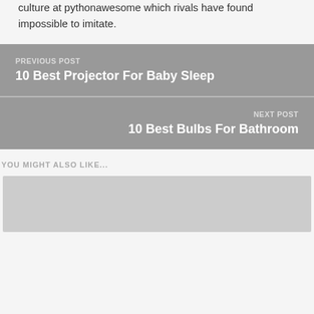culture at pythonawesome which rivals have found impossible to imitate.
PREVIOUS POST
10 Best Projector For Baby Sleep
NEXT POST
10 Best Bulbs For Bathroom
YOU MIGHT ALSO LIKE...
[Figure (other): Placeholder image area at bottom of page]